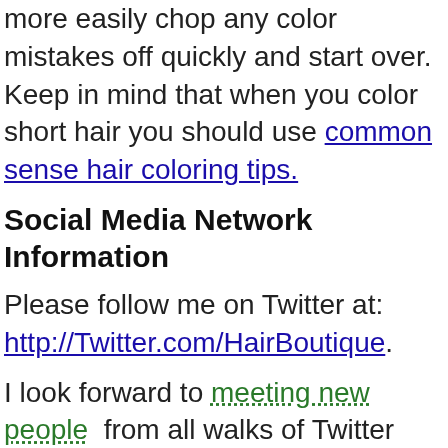more easily chop any color mistakes off quickly and start over. Keep in mind that when you color short hair you should use common sense hair coloring tips.
Social Media Network Information
Please follow me on Twitter at: http://Twitter.com/HairBoutique.
I look forward to meeting new people from all walks of Twitter and learning from their Tweets. Visit us at Hairboutique.com located at: http://www.HairBoutique.com, on Facebook, MySpace and